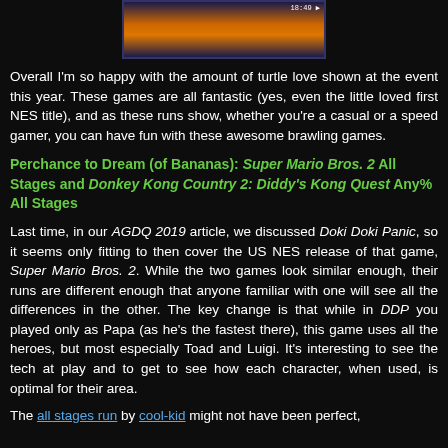[Figure (screenshot): Screenshot of a video game with orange/desert background and timer showing 18:49]
Overall I'm so happy with the amount of turtle love shown at the event this year. These games are all fantastic (yes, even the little loved first NES title), and as these runs show, whether you're a casual or a speed gamer, you can have fun with these awesome brawling games.
Perchance to Dream (of Bananas): Super Mario Bros. 2 All Stages and Donkey Kong Country 2: Diddy's Kong Quest Any% All Stages
Last time, in our AGDQ 2019 article, we discussed Doki Doki Panic, so it seems only fitting to then cover the US NES release of that game, Super Mario Bros. 2. While the two games look similar enough, their runs are different enough that anyone familiar with one will see all the differences in the other. The key change is that while in DDP you played only as Papa (as he's the fastest there), this game uses all the heroes, but most especially Toad and Luigi. It's interesting to see the tech at play and to get to see how each character, when used, is optimal for their area.
The all stages run by cool-kid might not have been perfect,